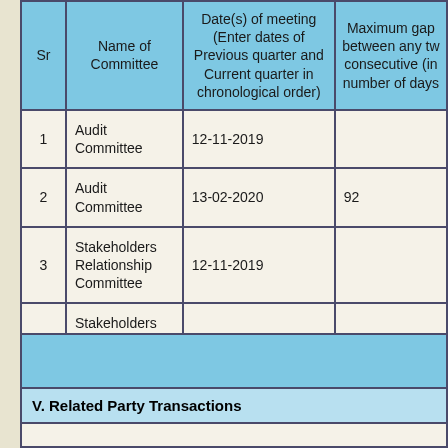| Sr | Name of Committee | Date(s) of meeting (Enter dates of Previous quarter and Current quarter in chronological order) | Maximum gap between any two consecutive (in number of days) |
| --- | --- | --- | --- |
| 1 | Audit Committee | 12-11-2019 |  |
| 2 | Audit Committee | 13-02-2020 | 92 |
| 3 | Stakeholders Relationship Committee | 12-11-2019 |  |
| 4 | Stakeholders Relationship Committee | 13-02-2020 | 92 |
V. Related Party Transactions